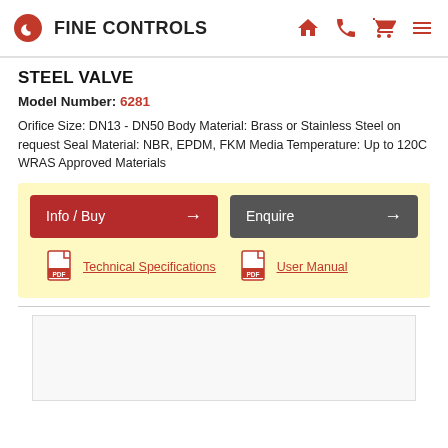FINE CONTROLS
STEEL VALVE
Model Number: 6281
Orifice Size: DN13 - DN50 Body Material: Brass or Stainless Steel on request Seal Material: NBR, EPDM, FKM Media Temperature: Up to 120C WRAS Approved Materials
Info / Buy
Enquire
Technical Specifications
User Manual
[Figure (photo): Product image area (white/light grey rectangle placeholder)]